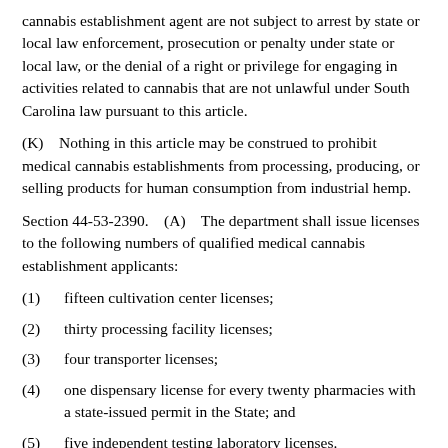cannabis establishment agent are not subject to arrest by state or local law enforcement, prosecution or penalty under state or local law, or the denial of a right or privilege for engaging in activities related to cannabis that are not unlawful under South Carolina law pursuant to this article.
(K)    Nothing in this article may be construed to prohibit medical cannabis establishments from processing, producing, or selling products for human consumption from industrial hemp.
Section 44-53-2390.    (A)    The department shall issue licenses to the following numbers of qualified medical cannabis establishment applicants:
(1)    fifteen cultivation center licenses;
(2)    thirty processing facility licenses;
(3)    four transporter licenses;
(4)    one dispensary license for every twenty pharmacies with a state-issued permit in the State; and
(5)    five independent testing laboratory licenses.
(B)    In order to be licensed as a medical cannabis establishment, a